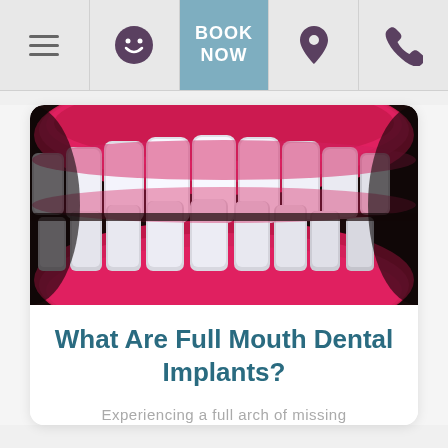Navigation bar with menu, smiley, BOOK NOW, location, and phone icons
[Figure (photo): Close-up photo of a full set of white dental implant teeth against bright red/pink gums, showing both upper and lower arches fitting together.]
What Are Full Mouth Dental Implants?
Experiencing a full arch of missing